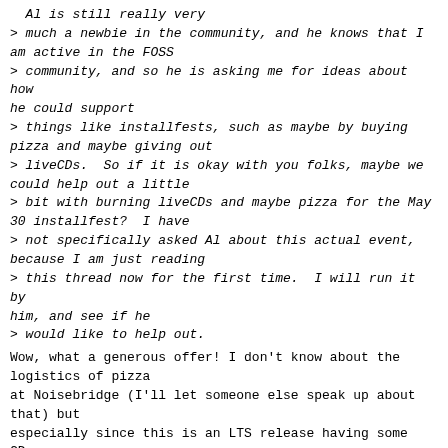Al is still really very
> much a newbie in the community, and he knows that I am active in the FOSS
> community, and so he is asking me for ideas about how he could support
> things like installfests, such as maybe by buying pizza and maybe giving out
> liveCDs.  So if it is okay with you folks, maybe we could help out a little
> bit with burning liveCDs and maybe pizza for the May 30 installfest?  I have
> not specifically asked Al about this actual event, because I am just reading
> this thread now for the first time.  I will run it by him, and see if he
> would like to help out.
Wow, what a generous offer! I don't know about the logistics of pizza
at Noisebridge (I'll let someone else speak up about that) but
especially since this is an LTS release having some CDs made up would
be super helpful and useful even beyond this 6 month time frame.
> Could we put Al's logo and contact info
> onto the CDs and the sleeves?
I'd support this.